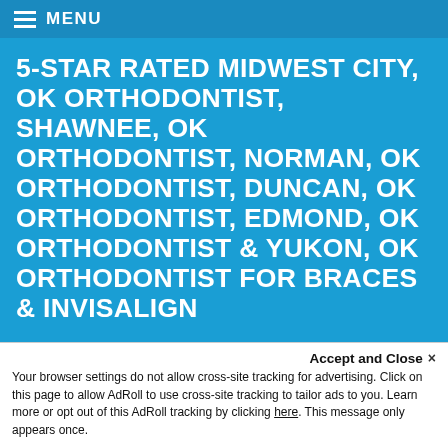MENU
5-STAR RATED MIDWEST CITY, OK ORTHODONTIST, SHAWNEE, OK ORTHODONTIST, NORMAN, OK ORTHODONTIST, DUNCAN, OK ORTHODONTIST, EDMOND, OK ORTHODONTIST & YUKON, OK ORTHODONTIST FOR BRACES & INVISALIGN
"We have truly enjoyed our experience in Drs Behrmann's & Cotterell's office! The care, love and fun are the best!!"
Amy S.
Accept and Close ✕
Your browser settings do not allow cross-site tracking for advertising. Click on this page to allow AdRoll to use cross-site tracking to tailor ads to you. Learn more or opt out of this AdRoll tracking by clicking here. This message only appears once.